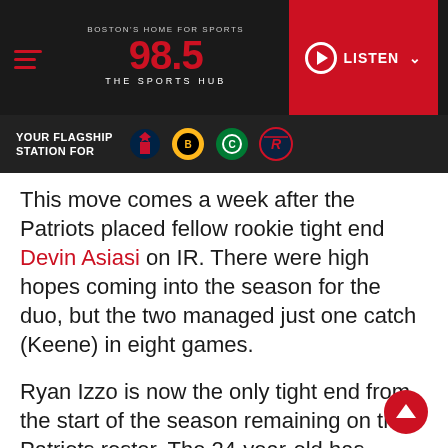[Figure (screenshot): 98.5 The Sports Hub radio station website header with logo, hamburger menu, and red LISTEN button]
[Figure (screenshot): Dark sub-header bar reading YOUR FLAGSHIP STATION FOR with team logos: Patriots, Bruins, Celtics, Revolution]
This move comes a week after the Patriots placed fellow rookie tight end Devin Asiasi on IR. There were high hopes coming into the season for the duo, but the two managed just one catch (Keene) in eight games.
Ryan Izzo is now the only tight end from the start of the season remaining on the Patriots roster. The 24-year-old has caught nine passes for 114 yards this season. Backing him up will be Jordan Thomas, who the Patriots signed off